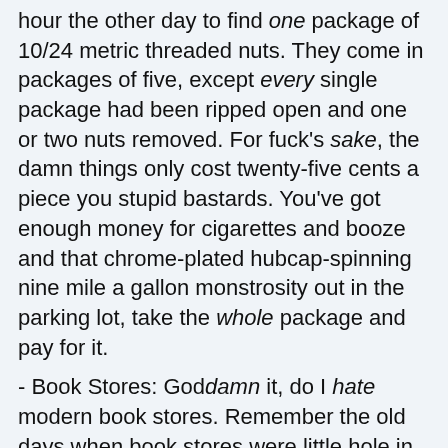hour the other day to find one package of 10/24 metric threaded nuts. They come in packages of five, except every single package had been ripped open and one or two nuts removed. For fuck's sake, the damn things only cost twenty-five cents a piece you stupid bastards. You've got enough money for cigarettes and booze and that chrome-plated hubcap-spinning nine mile a gallon monstrosity out in the parking lot, take the whole package and pay for it.
- Book Stores: Goddamn it, do I hate modern book stores. Remember the old days when book stores were little hole in the wall places that smelled of old paper and binding glue? They usually had wooden floors that creaked and groaned under the load of books. And only geeks worked there, the employees were hairy legged women and bearded unwashed guys, sitting behind the counter reading comic books. And only geeks shopped there because nobody but geeks read. It was quiet in a book store, you could spend hours in front of the stacks and never be bothered. Remember that? Now, now bookstores are huge soulless glass boxes. Every damned one of them has a coffee shop, which means the store is full of mouth breathers busy slurping and smacking their lips and stirring and dripping and